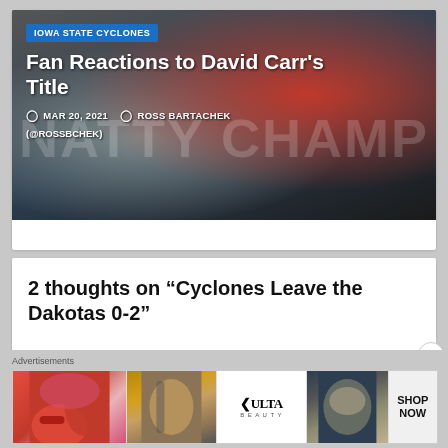[Figure (photo): Hero image of a wrestler in Iowa State Cyclones red singlet with 'NATTY CHAMP' text overlay. Category badge reads 'IOWA STATE CYCLONES'. Article title: 'Fan Reactions to David Carr's Title'. Date: MAR 20, 2021. Author: ROSS BARTACHEK (@ROSSBCHEK).]
2 thoughts on “Cyclones Leave the Dakotas 0-2”
Advertisements
[Figure (photo): Ulta Beauty advertisement banner showing makeup/cosmetics imagery with 'SHOP NOW' text.]